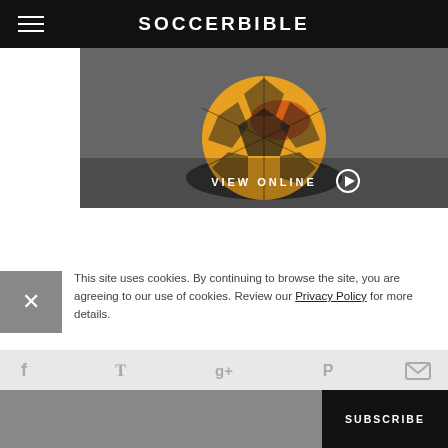SOCCERBIBLE
[Figure (photo): Close-up of a colorful red and yellow soccer ball on a textured grey surface with a shadow beneath it, with a 'VIEW ONLINE ▶' button overlay]
This site uses cookies. By continuing to browse the site, you are agreeing to our use of cookies. Review our Privacy Policy for more details.
[Figure (infographic): Social sharing icons row: Facebook, Twitter, Google+, Pinterest, Email on a light grey background]
SUBSCRIBE